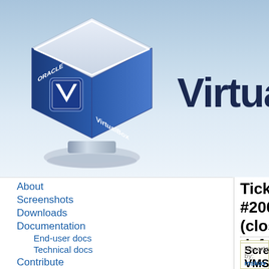[Figure (logo): Oracle VirtualBox logo: a 3D cube with VirtualBox branding, blue and white, on a reflective stand, with gradient blue background and large 'Virtual' text to the right]
About
Screenshots
Downloads
Documentation
End-user docs
Technical docs
Contribute
Community
Ticket #20067 (closed defect: fixed)
Screen resizing with VMSVGA produces artifacts if VM is started from a saved state => Fixed in SVN
Opened 21 months ago
Last modified 12 months ago
Reported by: mskov
Owned by: